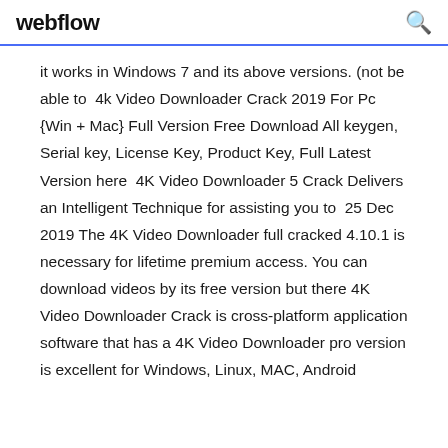webflow
it works in Windows 7 and its above versions. (not be able to  4k Video Downloader Crack 2019 For Pc {Win + Mac} Full Version Free Download All keygen, Serial key, License Key, Product Key, Full Latest Version here  4K Video Downloader 5 Crack Delivers an Intelligent Technique for assisting you to  25 Dec 2019 The 4K Video Downloader full cracked 4.10.1 is necessary for lifetime premium access. You can download videos by its free version but there 4K Video Downloader Crack is cross-platform application software that has a 4K Video Downloader pro version is excellent for Windows, Linux, MAC, Android